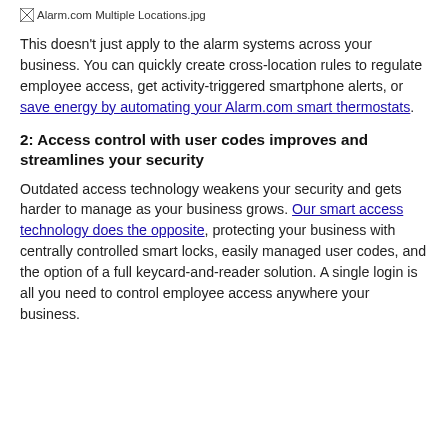[Figure (photo): Alarm.com Multiple Locations image placeholder shown as broken image icon with filename text]
This doesn't just apply to the alarm systems across your business. You can quickly create cross-location rules to regulate employee access, get activity-triggered smartphone alerts, or save energy by automating your Alarm.com smart thermostats.
2: Access control with user codes improves and streamlines your security
Outdated access technology weakens your security and gets harder to manage as your business grows. Our smart access technology does the opposite, protecting your business with centrally controlled smart locks, easily managed user codes, and the option of a full keycard-and-reader solution. A single login is all you need to control employee access anywhere your business.